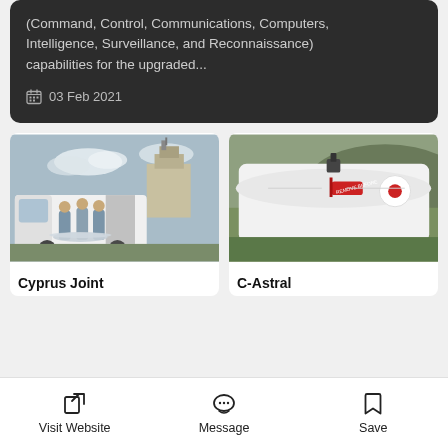(Command, Control, Communications, Computers, Intelligence, Surveillance, and Reconnaissance) capabilities for the upgraded...
03 Feb 2021
[Figure (photo): Team of people holding a drone in front of a white van and surveillance tower]
Cyprus Joint
[Figure (photo): Close-up of a white drone on grass with a red remove-before-flight tag and C-Astral logo]
C-Astral
Visit Website
Message
Save